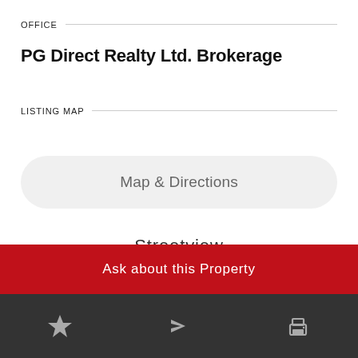OFFICE
PG Direct Realty Ltd. Brokerage
LISTING MAP
Map & Directions
Streetview
Bird's Eye View
Ask about this Property